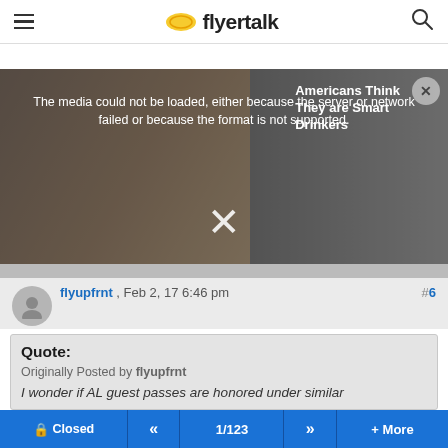flyertalk
[Figure (screenshot): Media player with error message: 'The media could not be loaded, either because the server or network failed or because the format is not supported.' Overlaid ad text: 'Americans Think They are Smart Drinkers'. Close button and X dismiss button visible.]
flyupfrnt , Feb 2, 17 6:46 pm  #6
Quote: Originally Posted by flyupfrnt I wonder if AL guest passes are honored under similar
Closed  <<  1/123  >>  + More